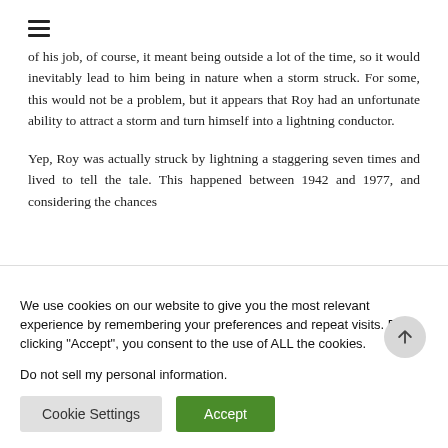of his job, of course, it meant being outside a lot of the time, so it would inevitably lead to him being in nature when a storm struck. For some, this would not be a problem, but it appears that Roy had an unfortunate ability to attract a storm and turn himself into a lightning conductor.
Yep, Roy was actually struck by lightning a staggering seven times and lived to tell the tale. This happened between 1942 and 1977, and considering the chances
We use cookies on our website to give you the most relevant experience by remembering your preferences and repeat visits. By clicking "Accept", you consent to the use of ALL the cookies.
Do not sell my personal information.